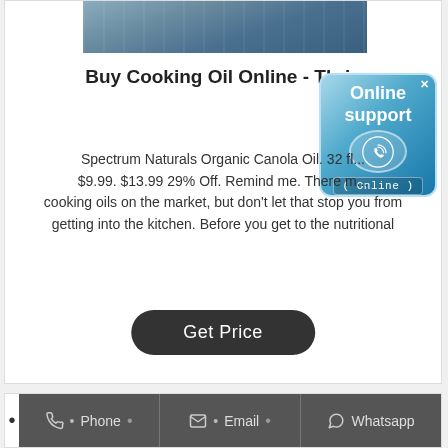[Figure (photo): Partial view of an industrial or factory setting, showing machinery and a blue structure, with the image cropped at the top of the card.]
Buy Cooking Oil Online - Thriv
[Figure (infographic): Online support badge with blue gradient background, phone icon in a circle, text 'Online support' and '(Online)' label, and an X close button.]
Spectrum Naturals Organic Canola Oil. 32 fl... $9.99. $13.99 29% Off. Remind me. There m... cooking oils on the market, but don't let that stop you from getting into the kitchen. Before you get to the nutritional
Get Price
Phone  Email  Whatsapp